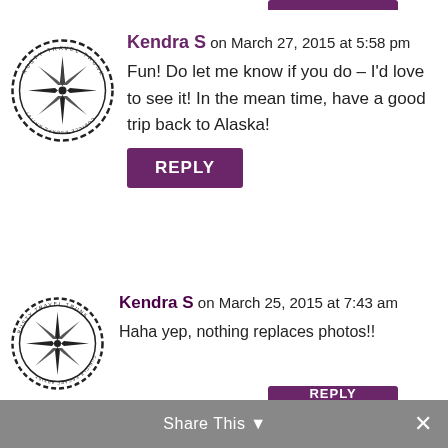Kendra S on March 27, 2015 at 5:58 pm
Fun! Do let me know if you do – I'd love to see it! In the mean time, have a good trip back to Alaska!
REPLY
Kendra S on March 25, 2015 at 7:43 am
Haha yep, nothing replaces photos!!
REPLY
Share This ×